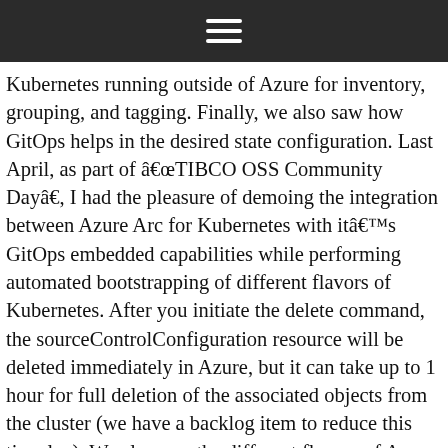☰
Kubernetes running outside of Azure for inventory, grouping, and tagging. Finally, we also saw how GitOps helps in the desired state configuration. Last April, as part of âTIBCO OSS Community Dayâ, I had the pleasure of demoing the integration between Azure Arc for Kubernetes with itâs GitOps embedded capabilities while performing automated bootstrapping of different flavors of Kubernetes. After you initiate the delete command, the sourceControlConfiguration resource will be deleted immediately in Azure, but it can take up to 1 hour for full deletion of the associated objects from the cluster (we have a backlog item to reduce this time lag). We also saw the different flavors of Azure Arc and took a deep look at Azure Arc for Kubernetes. Git repo will be